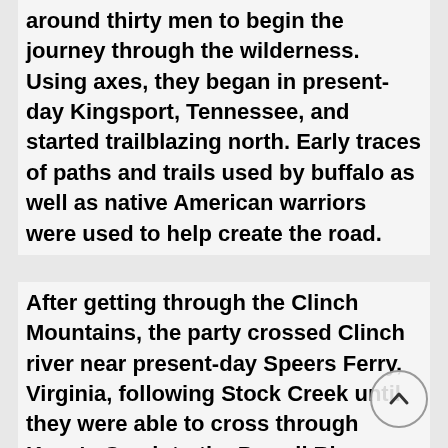around thirty men to begin the journey through the wilderness. Using axes, they began in present-day Kingsport, Tennessee, and started trailblazing north. Early traces of paths and trails used by buffalo as well as native American warriors were used to help create the road.
After getting through the Clinch Mountains, the party crossed Clinch river near present-day Speers Ferry, Virginia, following Stock Creek until they were able to cross through Kane's Gap into the Powell River Valley. Soon before reaching their desired location for the new settlement on the Kentucky River, the group was attacked by Shawnee tribe members, who had not conceded their rights to the land. Most of the group managed to escape, but there were some